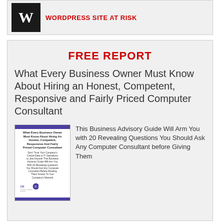[Figure (other): WordPress logo (W) in dark box with red title text 'WordPress Site At Risk']
FREE REPORT
What Every Business Owner Must Know About Hiring an Honest, Competent, Responsive and Fairly Priced Computer Consultant
[Figure (other): Thumbnail image of a booklet cover: 'What Every Business Owner Must Know About Hiring An Honest, Competent, Responsive And Fairly Priced Computer Consultant' with a company logo at bottom]
This Business Advisory Guide Will Arm You with 20 Revealing Questions You Should Ask Any Computer Consultant before Giving Them